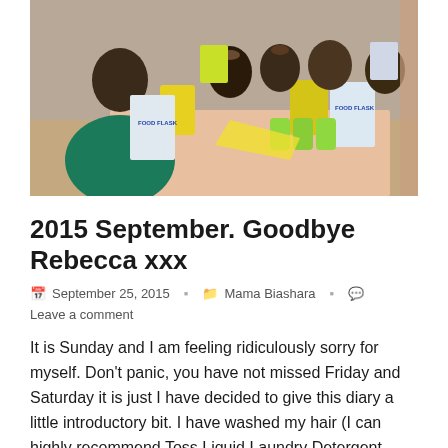[Figure (photo): Group photo of several people smiling around a table with products including food flasks, yellow bags of food, and green liquid containers. Taken indoors.]
2015 September. Goodbye Rebecca xxx
September 25, 2015   Mama Biashara   Leave a comment
It is Sunday and I am feeling ridiculously sorry for myself. Don't panic, you have not missed Friday and Saturday it is just I have decided to give this diary a little introductory bit. I have washed my hair (I can highly recommend Toss Liquid Laundry Detergent